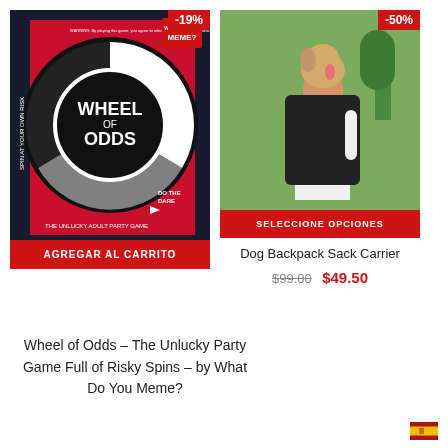[Figure (photo): Wheel of Odds board game box with red/black/white spinning wheel design. Text: SPIN AT YOUR OWN RISK, WHEEL OF ODDS, THE UNLUCKY ADULT PARTY GAME, DO THE DARE. Badge showing -19% discount.]
[Figure (photo): Dog Backpack Sack Carrier product photo. Golden retriever sitting in a black backpack carrier worn by a man. Badge showing -50% discount.]
AGREGAR AL CARRITO
SELECCIONE OPCIONES
Dog Backpack Sack Carrier
$99.00  $49.50
Wheel of Odds – The Unlucky Party Game Full of Risky Spins – by What Do You Meme?